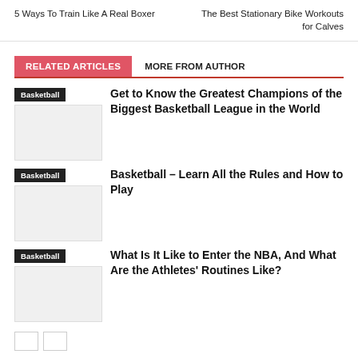5 Ways To Train Like A Real Boxer
The Best Stationary Bike Workouts for Calves
RELATED ARTICLES
MORE FROM AUTHOR
Basketball
Get to Know the Greatest Champions of the Biggest Basketball League in the World
Basketball
Basketball – Learn All the Rules and How to Play
Basketball
What Is It Like to Enter the NBA, And What Are the Athletes' Routines Like?